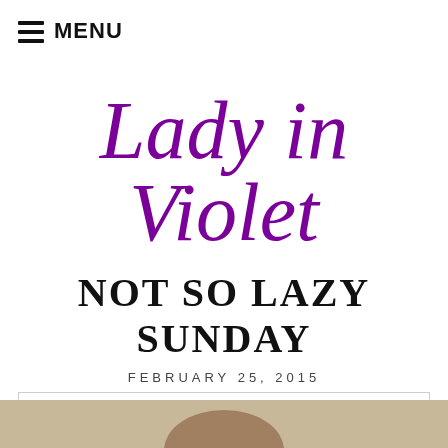☰ MENU
Lady in Violet
NOT SO LAZY SUNDAY
FEBRUARY 25, 2015
Privacy & Cookies: This site uses cookies. By continuing to use this website, you agree to their use.
To find out more, including how to control cookies, see here:
Privacy Policy
Close and accept
[Figure (photo): Partial photo strip at bottom of page showing a person]